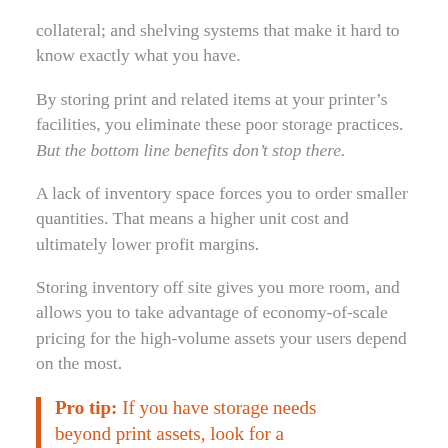collateral; and shelving systems that make it hard to know exactly what you have.
By storing print and related items at your printer’s facilities, you eliminate these poor storage practices. But the bottom line benefits don’t stop there.
A lack of inventory space forces you to order smaller quantities. That means a higher unit cost and ultimately lower profit margins.
Storing inventory off site gives you more room, and allows you to take advantage of economy-of-scale pricing for the high-volume assets your users depend on the most.
Pro tip: If you have storage needs beyond print assets, look for a